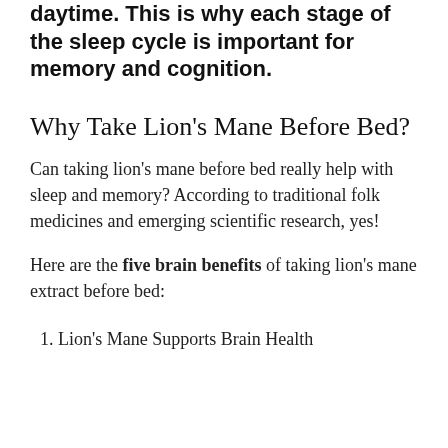daytime. This is why each stage of the sleep cycle is important for memory and cognition.
Why Take Lion’s Mane Before Bed?
Can taking lion's mane before bed really help with sleep and memory? According to traditional folk medicines and emerging scientific research, yes!
Here are the five brain benefits of taking lion's mane extract before bed:
1. Lion’s Mane Supports Brain Health